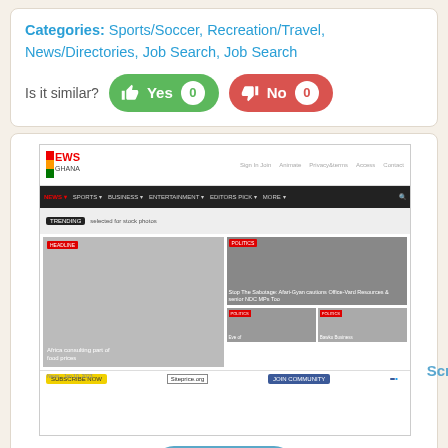Categories: Sports/Soccer, Recreation/Travel, News/Directories, Job Search, Job Search
Is it similar? Yes 0  No 0
[Figure (screenshot): Screenshot of newsghana.com.gh website showing the News Ghana homepage with navigation bar, article thumbnails, and Siteprice.org watermark. 'Scroll Top' label appears to the right.]
Like 0
newsghana.com.gh